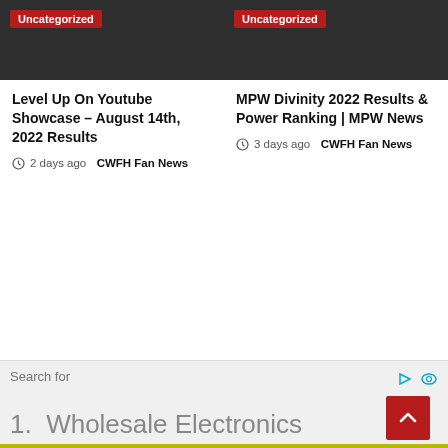[Figure (screenshot): Dark thumbnail image with Uncategorized badge for article card 1]
Level Up On Youtube Showcase – August 14th, 2022 Results
2 days ago  CWFH Fan News
[Figure (screenshot): Dark thumbnail image with Uncategorized badge for article card 2]
MPW Divinity 2022 Results & Power Ranking | MPW News
3 days ago  CWFH Fan News
[Figure (photo): Dark rectangular image block on lower left]
Search for
1.  Wholesale Electronics